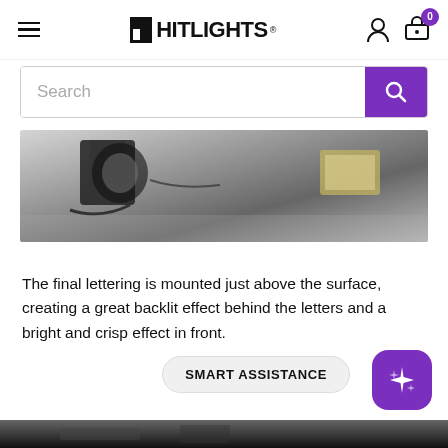HITLIGHTS
[Figure (screenshot): Search bar with purple search button]
[Figure (photo): Close-up photo of LED channel letters being assembled on a work surface]
The final lettering is mounted just above the surface, creating a great backlit effect behind the letters and a bright and crisp effect in front.
[Figure (other): Smart Assistance chat button with purple sparkle icon]
[Figure (photo): Bottom strip of another photo, dark tones]